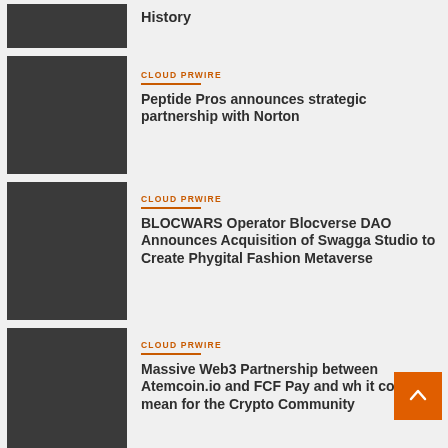History
[Figure (photo): Dark grey placeholder image thumbnail]
CLOUD PRWIRE
Peptide Pros announces strategic partnership with Norton
[Figure (photo): Dark grey placeholder image thumbnail]
CLOUD PRWIRE
BLOCWARS Operator Blocverse DAO Announces Acquisition of Swagga Studio to Create Phygital Fashion Metaverse
[Figure (photo): Dark grey placeholder image thumbnail]
CLOUD PRWIRE
Massive Web3 Partnership between Atemcoin.io and FCF Pay and what it could mean for the Crypto Community
[Figure (photo): Dark grey placeholder image thumbnail]